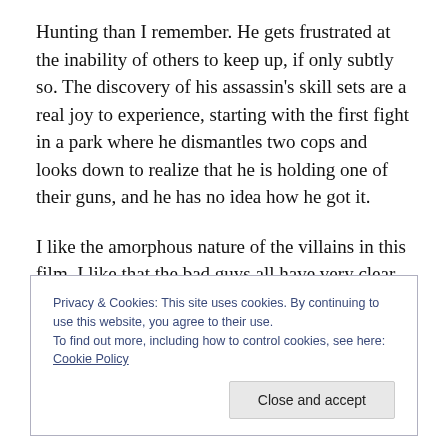Hunting than I remember. He gets frustrated at the inability of others to keep up, if only subtly so. The discovery of his assassin's skill sets are a real joy to experience, starting with the first fight in a park where he dismantles two cops and looks down to realize that he is holding one of their guns, and he has no idea how he got it.
I like the amorphous nature of the villains in this film. I like that the bad guys all have very clear motives for acting how they act. Some are assassins, just like Bourne. Some are doing what is 'Best For The Country', which leads
Privacy & Cookies: This site uses cookies. By continuing to use this website, you agree to their use.
To find out more, including how to control cookies, see here: Cookie Policy